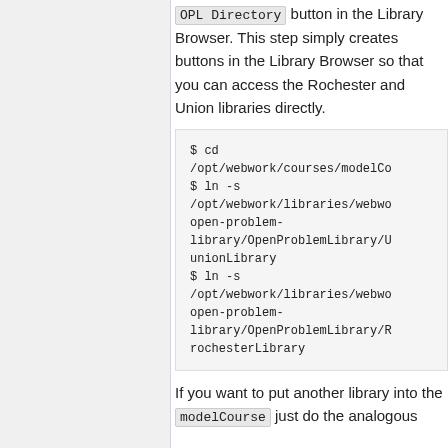OPL Directory button in the Library Browser. This step simply creates buttons in the Library Browser so that you can access the Rochester and Union libraries directly.
$ cd /opt/webwork/courses/modelCo
$ ln -s /opt/webwork/libraries/webwo open-problem-library/OpenProblemLibrary/U unionLibrary
$ ln -s /opt/webwork/libraries/webwo open-problem-library/OpenProblemLibrary/R rochesterLibrary
If you want to put another library into the modelCourse just do the analogous